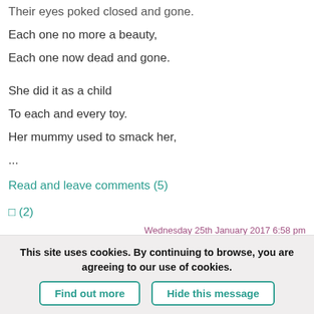Their eyes poked closed and gone.
Each one no more a beauty,
Each one now dead and gone.
She did it as a child
To each and every toy.
Her mummy used to smack her,
...
Read and leave comments (5)
□ (2)
Wednesday 25th January 2017 6:58 pm
Killers   murder   mutilation   death   serial killers   doll maker
This site uses cookies. By continuing to browse, you are agreeing to our use of cookies.
Find out more
Hide this message